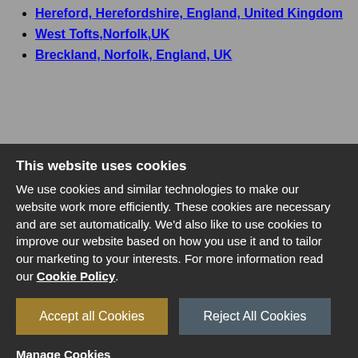Hereford, Herefordshire, England, United Kingdom
West Tofts,Norfolk,UK
Breckland, Norfolk, England, UK
This website uses cookies
We use cookies and similar technologies to make our website work more efficiently. These cookies are necessary and are set automatically. We'd also like to use cookies to improve our website based on how you use it and to tailor our marketing to your interests. For more information read our Cookie Policy.
Accept all Cookies
Reject All Cookies
Manage Cookies